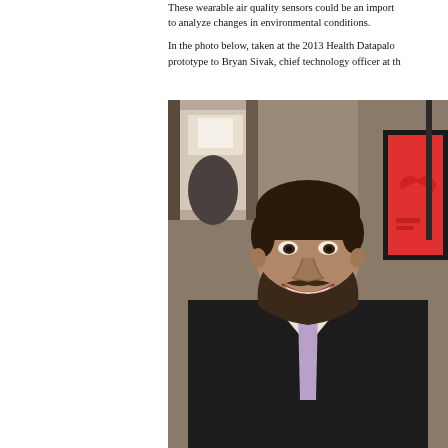These wearable air quality sensors could be an import to analyze changes in environmental conditions.

In the photo below, taken at the 2013 Health Datapalo prototype to Bryan Sivak, chief technology officer at th
[Figure (photo): A smiling man with dark hair and beard wearing a black suit jacket and light purple tie, photographed indoors at what appears to be an event. A red framed sign is visible in the background to the right.]